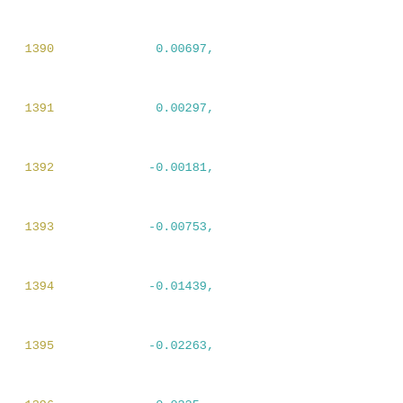1390    0.00697,
1391    0.00297,
1392   -0.00181,
1393   -0.00753,
1394   -0.01439,
1395   -0.02263,
1396   -0.0325,
1397   -0.04436,
1398   -0.05858,
1399   -0.07566,
1400   -0.09615,
1401   -0.12075,
1402   -0.15028,
1403   -0.18572,
1404   -0.22825,
1405   -0.27929,
1406   -0.34055,
1407   -0.41405,
1408   -0.50226
1409   ],
1410   [
1411   0.02949,